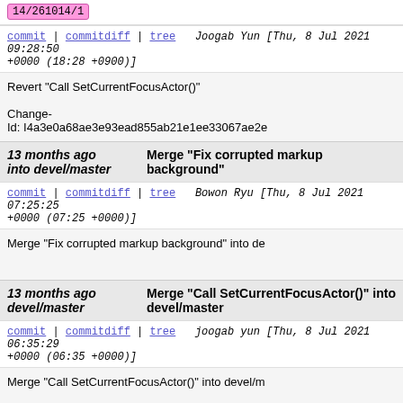14/261014/1
commit | commitdiff | tree   Joogab Yun [Thu, 8 Jul 2021 09:28:50 +0000 (18:28 +0900)]
Revert "Call SetCurrentFocusActor()"

Change-Id: I4a3e0a68ae3e93ead855ab21e1ee33067ae2e...
13 months ago into devel/master   Merge "Fix corrupted markup background"
commit | commitdiff | tree   Bowon Ryu [Thu, 8 Jul 2021 07:25:25 +0000 (07:25 +0000)]
Merge "Fix corrupted markup background" into de...
13 months ago devel/master   Merge "Call SetCurrentFocusActor()" into devel/master
commit | commitdiff | tree   joogab yun [Thu, 8 Jul 2021 06:35:29 +0000 (06:35 +0000)]
Merge "Call SetCurrentFocusActor()" into devel/m...
13 months ago   Fix corrupted markup background
51/260851/12